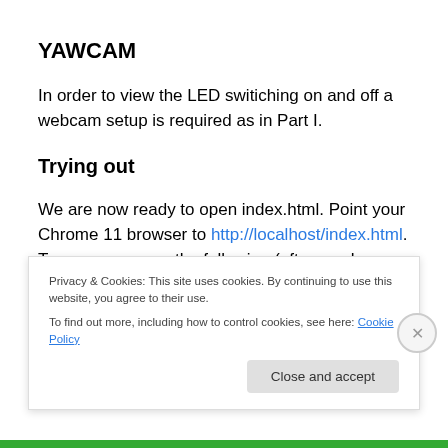YAWCAM
In order to view the LED switiching on and off a webcam setup is required as in Part I.
Trying out
We are now ready to open index.html. Point your Chrome 11 browser to http://localhost/index.html. Tou may now see the following (after you have directed your webcam to the AYE350...
Privacy & Cookies: This site uses cookies. By continuing to use this website, you agree to their use.
To find out more, including how to control cookies, see here: Cookie Policy